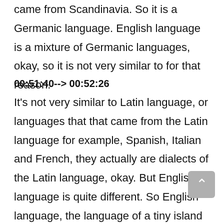came from Scandinavia. So it is a Germanic language. English language is a mixture of Germanic languages, okay, so it is not very similar to for that reason.
00:51:40--> 00:52:26
It's not very similar to Latin language, or languages that that came from the Latin language for example, Spanish, Italian and French, they actually are dialects of the Latin language, okay. But English language is quite different. So English language, the language of a tiny island in Western Europe became the lingua franca of the world today, okay, most academic works, if not all most of them are either authored in the English language or translated into the English language for wider reading for wider reading, and you will agree with me on that point. So the status the English language enjoys today was enjoyed for five centuries by the Arabic language for 500 years,